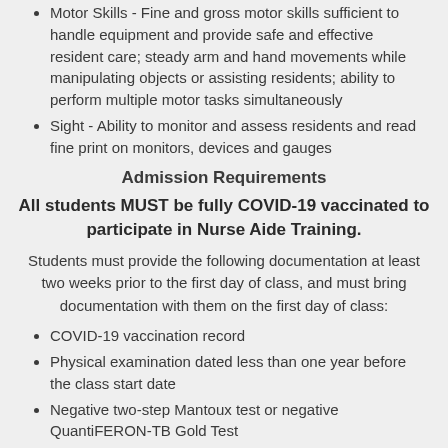Motor Skills - Fine and gross motor skills sufficient to handle equipment and provide safe and effective resident care; steady arm and hand movements while manipulating objects or assisting residents; ability to perform multiple motor tasks simultaneously
Sight - Ability to monitor and assess residents and read fine print on monitors, devices and gauges
Admission Requirements
All students MUST be fully COVID-19 vaccinated to participate in Nurse Aide Training.
Students must provide the following documentation at least two weeks prior to the first day of class, and must bring documentation with them on the first day of class:
COVID-19 vaccination record
Physical examination dated less than one year before the class start date
Negative two-step Mantoux test or negative QuantiFERON-TB Gold Test
Criminal History Record Information (CHRI) report